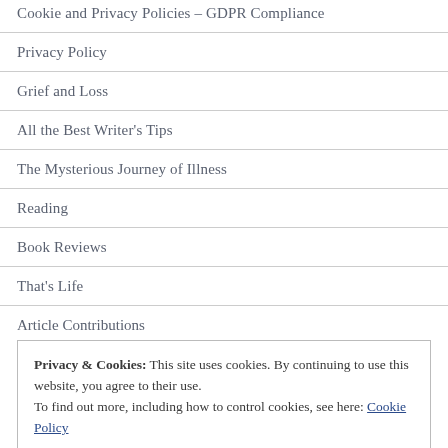Cookie and Privacy Policies – GDPR Compliance
Privacy Policy
Grief and Loss
All the Best Writer's Tips
The Mysterious Journey of Illness
Reading
Book Reviews
That's Life
Article Contributions
Privacy & Cookies: This site uses cookies. By continuing to use this website, you agree to their use. To find out more, including how to control cookies, see here: Cookie Policy
Close and accept